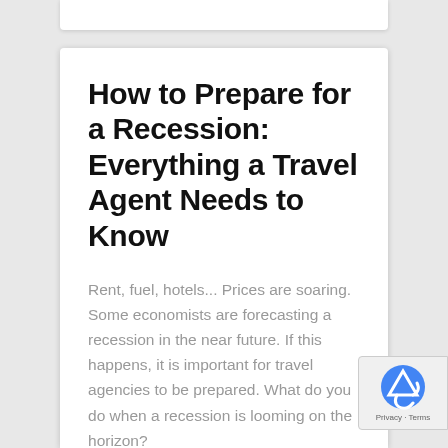How to Prepare for a Recession: Everything a Travel Agent Needs to Know
Rent, fuel, hotels... Prices are soaring. Some economists are forecasting a recession in the near future. If this happens, it is important for travel agencies to be prepared. What do you do when a recession is looming on the horizon?
READ MORE »